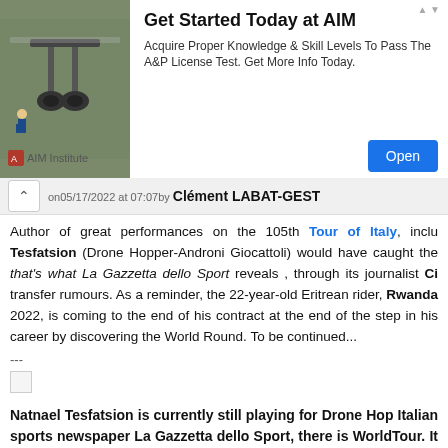[Figure (infographic): Advertisement banner for AIM Institute showing an aircraft undercarriage image on the left, bold title 'Get Started Today at AIM', descriptive text, and a blue Open button.]
on 05/17/2022 at 07:07 by Clément LABAT-GEST
Author of great performances on the 105th Tour of Italy, inclu Tesfatsion (Drone Hopper-Androni Giocattoli) would have caught the that's what La Gazzetta dello Sport reveals , through its journalist Ci transfer rumours. As a reminder, the 22-year-old Eritrean rider, Rwanda 2022, is coming to the end of his contract at the end of the step in his career by discovering the World Round. To be continued...
---
[Figure (photo): Broken/missing image placeholder]
Natnael Tesfatsion is currently still playing for Drone Hop Italian sports newspaper La Gazzetta dello Sport, there is WorldTour. It would be Trek-Segafredo.
It is the usually well-introduced sports journalist Ciro Scogna